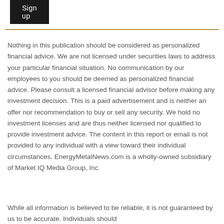[Figure (other): Sign up button — dark background with white text]
Nothing in this publication should be considered as personalized financial advice. We are not licensed under securities laws to address your particular financial situation. No communication by our employees to you should be deemed as personalized financial advice. Please consult a licensed financial advisor before making any investment decision. This is a paid advertisement and is neither an offer nor recommendation to buy or sell any security. We hold no investment licenses and are thus neither licensed nor qualified to provide investment advice. The content in this report or email is not provided to any individual with a view toward their individual circumstances. EnergyMetalNews.com is a wholly-owned subsidiary of Market IQ Media Group, Inc.
While all information is believed to be reliable, it is not guaranteed by us to be accurate. Individuals should